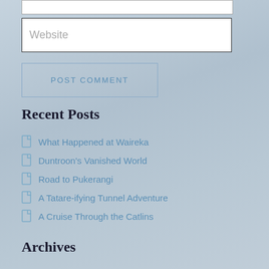Website
POST COMMENT
Recent Posts
What Happened at Waireka
Duntroon's Vanished World
Road to Pukerangi
A Tatare-ifying Tunnel Adventure
A Cruise Through the Catlins
Archives